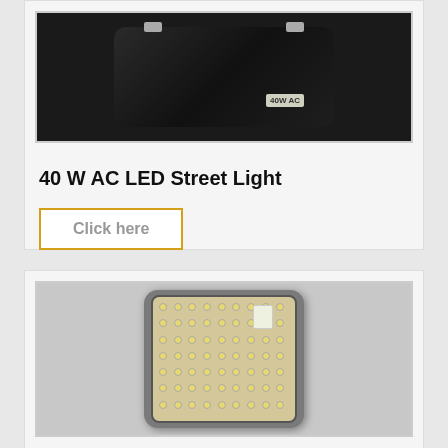[Figure (photo): 40W AC LED Street Light product photo showing a black rectangular LED street light fixture with mounting tabs]
40 W AC LED Street Light
Click here
[Figure (photo): LED flood light fixture in gray/silver color showing LED panel with multiple yellow LED dots arranged in a grid pattern]